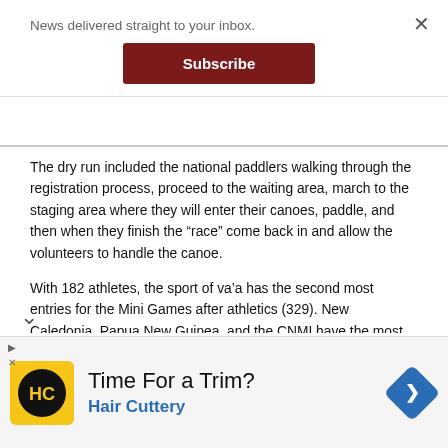News delivered straight to your inbox.
Subscribe
The dry run included the national paddlers walking through the registration process, proceed to the waiting area, march to the staging area where they will enter their canoes, paddle, and then when they finish the “race” come back in and allow the volunteers to handle the canoe.
With 182 athletes, the sport of va’a has the second most entries for the Mini Games after athletics (329). New Caledonia, Papua New Guinea, and the CNMI have the most paddlers with 28 apiece, followed by Guam with 24, Wallis & Futuna with 20, Tahiti with eight, Fiji with six, Norfolk Island with three, Cook Islands with two, Palau with one.
[Figure (other): Advertisement: Time For a Trim? Hair Cuttery. Yellow logo with HC initials on black circle, and a blue navigation/map pin icon.]